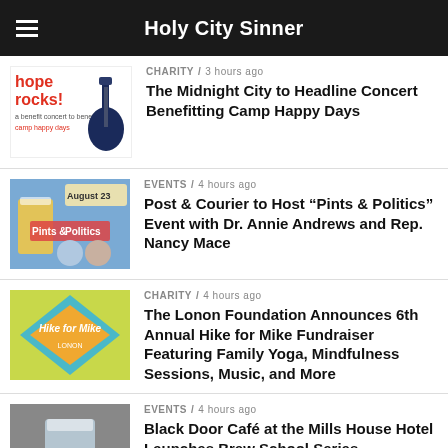Holy City Sinner
CHARITY / 3 hours ago
The Midnight City to Headline Concert Benefitting Camp Happy Days
EVENTS / 4 hours ago
Post & Courier to Host “Pints & Politics” Event with Dr. Annie Andrews and Rep. Nancy Mace
CHARITY / 4 hours ago
The Lonon Foundation Announces 6th Annual Hike for Mike Fundraiser Featuring Family Yoga, Mindfulness Sessions, Music, and More
EVENTS / 4 hours ago
Black Door Café at the Mills House Hotel Launches Brew School Series